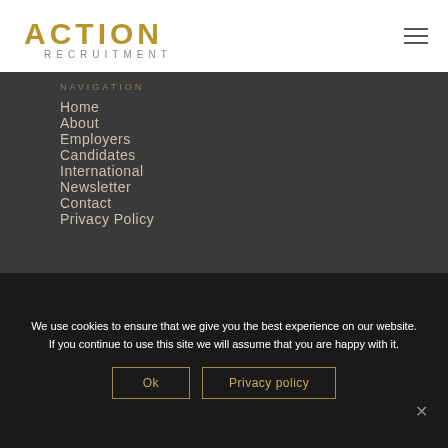[Figure (logo): Action Recruitment logo with golden text 'ACTION' and smaller text 'RECRUITMENT' below]
NAVIGATION
Home
About
Employers
Candidates
International
Newsletter
Contact
Privacy Policy
We use cookies to ensure that we give you the best experience on our website. If you continue to use this site we will assume that you are happy with it.
Ok
Privacy policy